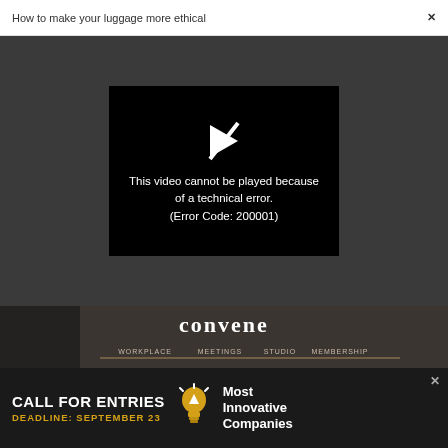How to make your luggage more ethical  ×
[Figure (screenshot): Video player showing error: black box with play icon and text 'This video cannot be played because of a technical error. (Error Code: 200001)' on dark grey background]
[Figure (screenshot): Convene advertisement banner showing 'convene WORKPLACE MEETINGS STUDIO MEMBERSHIP' with two people sitting on orange and grey chairs in a modern office setting]
[Figure (screenshot): Advertisement banner: 'CALL FOR ENTRIES DEADLINE: SEPTEMBER 23' with lightbulb icon and 'Most Innovative Companies' text on dark background]